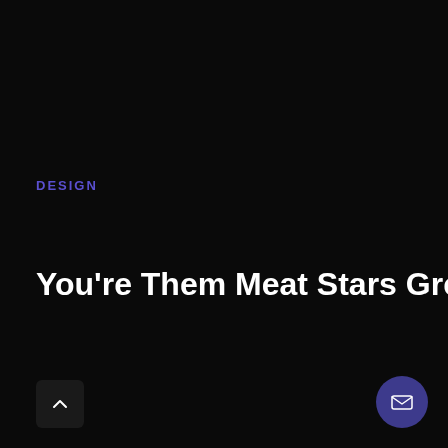DESIGN
You're Them Meat Stars Greater
[Figure (other): Up arrow button (scroll to top), dark rectangular button with caret/chevron icon]
[Figure (other): Email/envelope icon button, circular dark blue button with envelope icon]